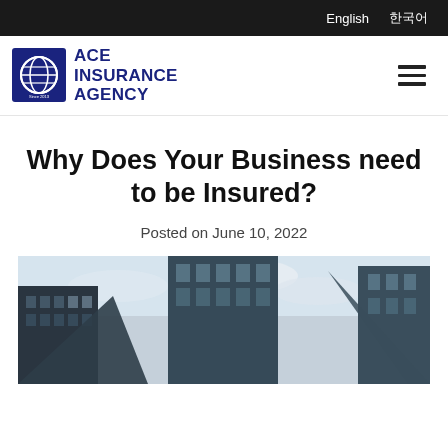English  한국어
[Figure (logo): ACE Insurance Agency logo with globe icon on blue square background]
Why Does Your Business need to be Insured?
Posted on June 10, 2022
[Figure (photo): Upward view of tall glass skyscraper buildings against a cloudy sky]